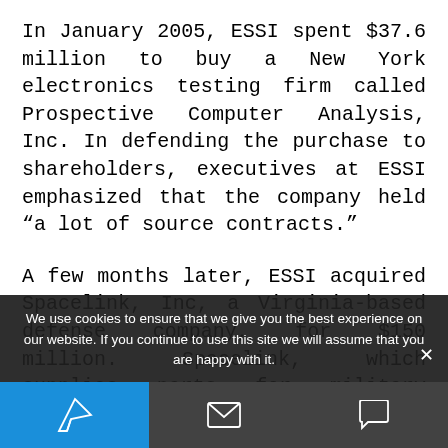In January 2005, ESSI spent $37.6 million to buy a New York electronics testing firm called Prospective Computer Analysis, Inc. In defending the purchase to shareholders, executives at ESSI emphasized that the company held “a lot of source contracts.”
A few months later, ESSI acquired Spacelink, Inc, a Virginia-based defense company, for $150 million. Spacelink, which supplies parts for military satellites and was poised to cash in on the $20 billion dollar defense...
We use cookies to ensure that we give you the best experience on our website. If you continue to use this site we will assume that you are happy with it.